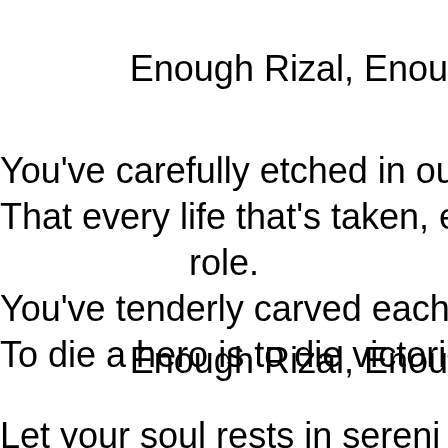Enough Rizal, Enou
You've carefully etched in our h
That every life that's taken, ev
role.
You've tenderly carved each w
To die a hero is to die victorie
Enough Rizal, Enou
Let your soul rests in sereni